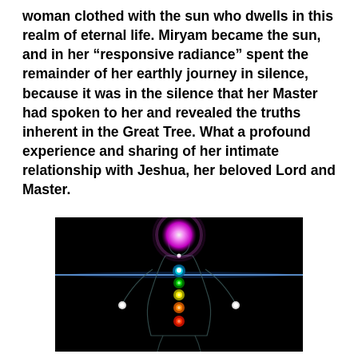woman clothed with the sun who dwells in this realm of eternal life. Miryam became the sun, and in her “responsive radiance” spent the remainder of her earthly journey in silence, because it was in the silence that her Master had spoken to her and revealed the truths inherent in the Great Tree. What a profound experience and sharing of her intimate relationship with Jeshua, her beloved Lord and Master.
[Figure (illustration): A dark background image showing a meditating human silhouette with glowing chakra energy centers along the body's central axis. A bright horizontal beam of blue-white light crosses the chest area. The chakras from bottom to top glow in red, orange, yellow, green, cyan/blue, and purple/violet. Small white orbs appear at the hands.]